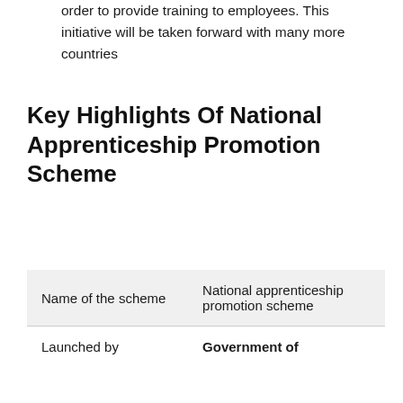order to provide training to employees. This initiative will be taken forward with many more countries
Key Highlights Of National Apprenticeship Promotion Scheme
|  |  |
| --- | --- |
| Name of the scheme | National apprenticeship promotion scheme |
| Launched by | Government of |